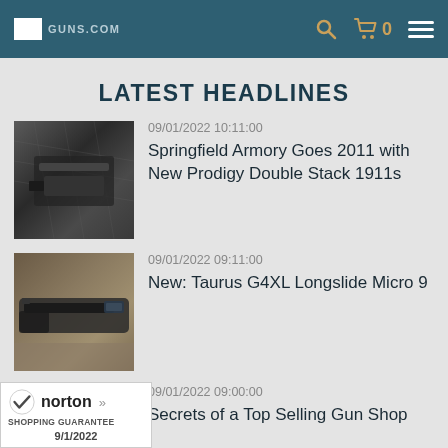Guns.com navigation bar with logo, search, cart (0), and menu
LATEST HEADLINES
[Figure (photo): Springfield Armory Prodigy pistol close-up on dark textured surface]
09/01/2022 10:11:00
Springfield Armory Goes 2011 with New Prodigy Double Stack 1911s
[Figure (photo): Taurus G4XL Longslide Micro 9 pistol on wooden surface]
09/01/2022 09:11:00
New: Taurus G4XL Longslide Micro 9
[Figure (photo): Partial thumbnail for Secrets of a Top Selling Gun Shop article]
09/01/2022 09:00:00
Secrets of a Top Selling Gun Shop
[Figure (logo): Norton Shopping Guarantee badge dated 9/1/2022]